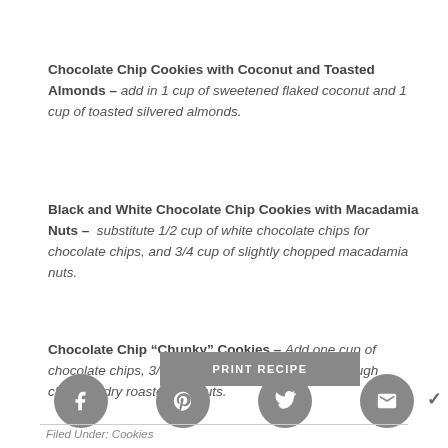Chocolate Chip Cookies with Coconut and Toasted Almonds – add in 1 cup of sweetened flaked coconut and 1 cup of toasted silvered almonds.
Black and White Chocolate Chip Cookies with Macadamia Nuts – substitute 1/2 cup of white chocolate chips for chocolate chips, and 3/4 cup of slightly chopped macadamia nuts.
Chocolate Chip “Chunky” Cookies – Add one cup of chocolate chips, 3/4 cup of raisins and 1/2 cup of rough chopped dry roasted peanuts.
PRINT RECIPE
Filed Under: Cookies